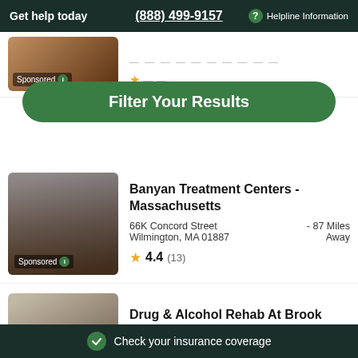Get help today  (888) 499-9157  ? Helpline Information
[Figure (screenshot): Partial listing image at top, partially obscured by Filter Your Results overlay]
Filter Your Results
Sponsored
Banyan Treatment Centers - Massachusetts
66K Concord Street Wilmington, MA 01887
- 87 Miles Away
4.4 (13)
Sponsored
Drug & Alcohol Rehab At Brook Recovery Center
673 Bedford Street Abington, MA 02351
- 118 Miles Away
Check your insurance coverage